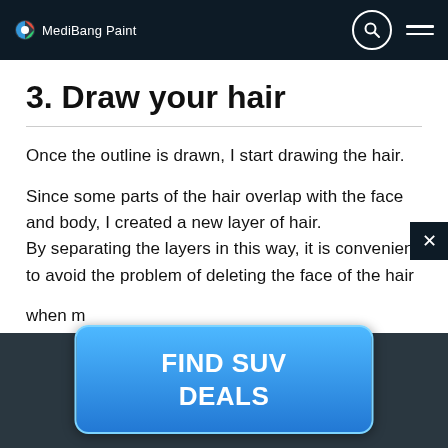MediBang Paint
3. Draw your hair
Once the outline is drawn, I start drawing the hair.
Since some parts of the hair overlap with the face and body, I created a new layer of hair.
By separating the layers in this way, it is convenient to avoid the problem of deleting the face of the hair when m…
[Figure (screenshot): Advertisement overlay showing 'FIND SUV DEALS' button in blue with rounded corners, partially overlaying the article content. A dark overlay covers the bottom of the page and a close (X) button appears in the upper right of the overlay.]